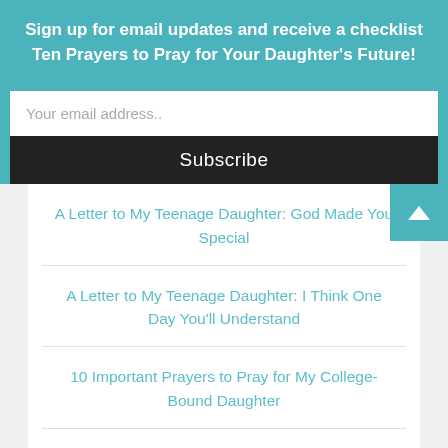Sign up for email updates and receive a checklist Ten Prayers to Pray for Your Daughter's Future!
Your email address..
Subscribe
A Letter to My Teenage Daughter: God Made You Special
A Letter to My Teenage Daughter: I Think One Day You'll Understand
10 Important Prayers to Pray for My College-Bound Daughter
Five Thoughts to Encourage the Mom (aka Me) Who's Sending a Child Off to College